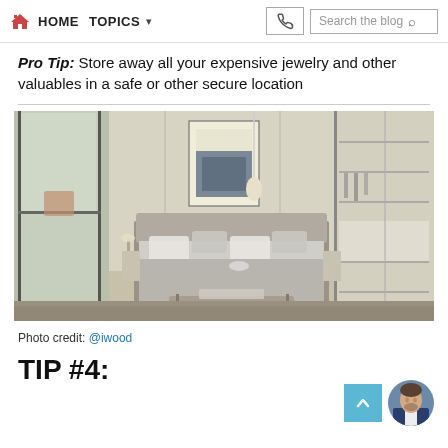HOME  TOPICS  ▾   [phone]  Search the blog
Pro Tip: Store away all your expensive jewelry and other valuables in a safe or other secure location
[Figure (photo): Modern luxury bedroom interior with a large bed, artwork above headboard, glass sliding doors to balcony, and built-in wardrobe on the right.]
Photo credit: @iwood
TIP #4: